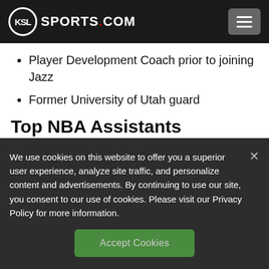KSL SPORTS.COM
Player Development Coach prior to joining Jazz
Former University of Utah guard
Top NBA Assistants
Will Hardy Boston Celtic
We use cookies on this website to offer you a superior user experience, analyze site traffic, and personalize content and advertisements. By continuing to use our site, you consent to our use of cookies. Please visit our Privacy Policy for more information.
Accept Cookies